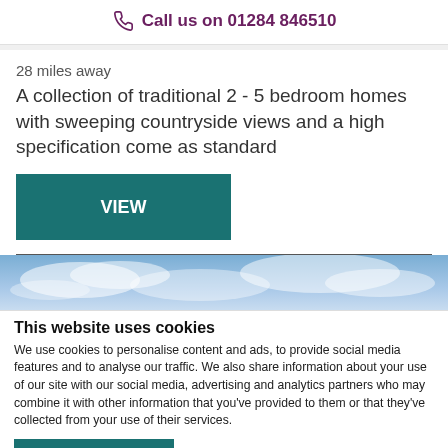Call us on 01284 846510
28 miles away
A collection of traditional 2 - 5 bedroom homes with sweeping countryside views and a high specification come as standard
VIEW
[Figure (photo): Sky with clouds background image]
This website uses cookies
We use cookies to personalise content and ads, to provide social media features and to analyse our traffic. We also share information about your use of our site with our social media, advertising and analytics partners who may combine it with other information that you've provided to them or that they've collected from your use of their services.
OK
Show details